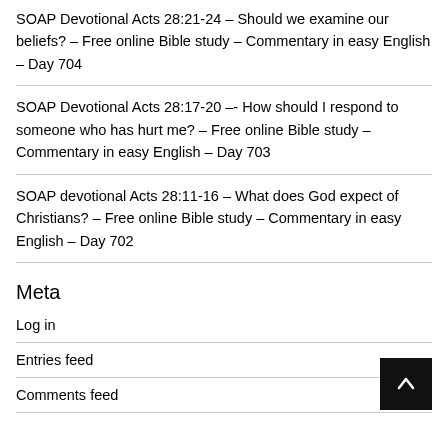SOAP Devotional Acts 28:21-24 – Should we examine our beliefs? – Free online Bible study – Commentary in easy English – Day 704
SOAP Devotional Acts 28:17-20 –- How should I respond to someone who has hurt me? – Free online Bible study – Commentary in easy English – Day 703
SOAP devotional Acts 28:11-16 – What does God expect of Christians? – Free online Bible study – Commentary in easy English – Day 702
Meta
Log in
Entries feed
Comments feed